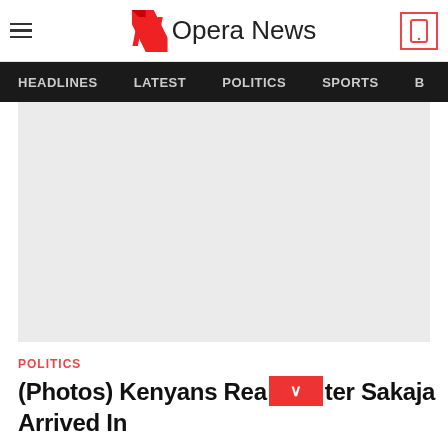Opera News - HEADLINES | LATEST | POLITICS | SPORTS
[Figure (photo): Large light gray image placeholder for article photo]
POLITICS
(Photos) Kenyans React after Sakaja Arrived In